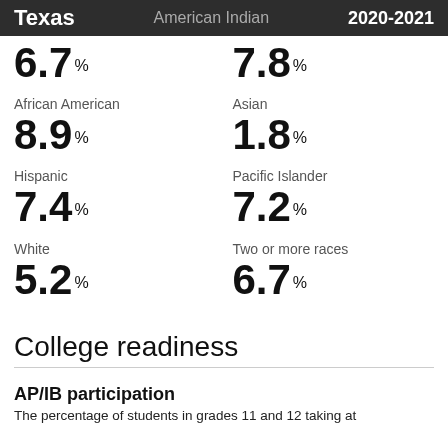Texas | American Indian | 2020-2021
6.7%
7.8%
African American
8.9%
Asian
1.8%
Hispanic
7.4%
Pacific Islander
7.2%
White
5.2%
Two or more races
6.7%
College readiness
AP/IB participation
The percentage of students in grades 11 and 12 taking at